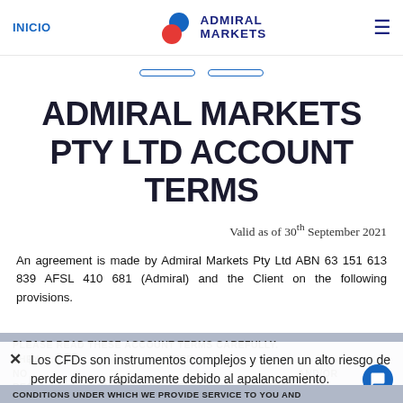INICIO | ADMIRAL MARKETS
ADMIRAL MARKETS PTY LTD ACCOUNT TERMS
Valid as of 30th September 2021
An agreement is made by Admiral Markets Pty Ltd ABN 63 151 613 839 AFSL 410 681 (Admiral) and the Client on the following provisions.
PLEASE READ THESE ACCOUNT TERMS CAREFULLY. THEY... CHED NO... AND/OR RES... FROM TIME TO TIME, SET OUT THE TERMS AND CONDITIONS UNDER WHICH WE PROVIDE SERVICE TO YOU AND
Los CFDs son instrumentos complejos y tienen un alto riesgo de perder dinero rápidamente debido al apalancamiento.